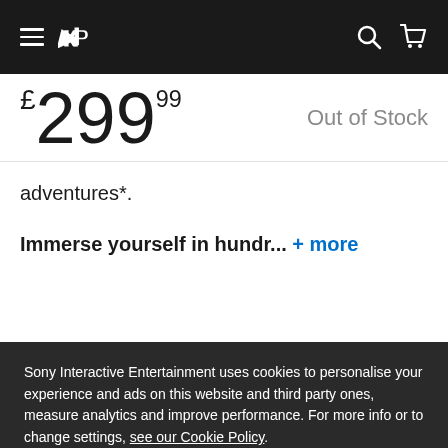PlayStation Store navigation bar with menu, PlayStation logo, search, and cart icons
£299.99   Out of Stock
adventures*.
Immerse yourself in hundr... + more
Sony Interactive Entertainment uses cookies to personalise your experience and ads on this website and third party ones, measure analytics and improve performance. For more info or to change settings, see our Cookie Policy.
Decline
Accept